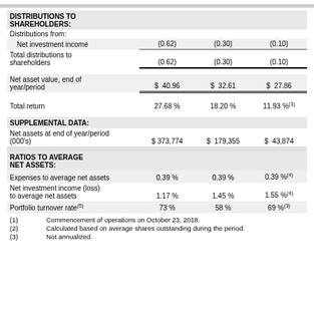DISTRIBUTIONS TO SHAREHOLDERS:
Distributions from:
|  | Col1 | Col2 | Col3 |
| --- | --- | --- | --- |
| Net investment income | (0.62) | (0.30) | (0.10) |
| Total distributions to shareholders | (0.62) | (0.30) | (0.10) |
| Net asset value, end of year/period | $ 40.96 | $ 32.61 | $ 27.86 |
| Total return | 27.68 % | 18.20 % | 11.93 % (3) |
SUPPLEMENTAL DATA:
|  | Col1 | Col2 | Col3 |
| --- | --- | --- | --- |
| Net assets at end of year/period (000's) | $ 373,774 | $ 179,355 | $ 43,874 |
RATIOS TO AVERAGE NET ASSETS:
|  | Col1 | Col2 | Col3 |
| --- | --- | --- | --- |
| Expenses to average net assets | 0.39 % | 0.39 % | 0.39 % (4) |
| Net investment income (loss) to average net assets | 1.17 % | 1.45 % | 1.55 % (4) |
| Portfolio turnover rate (5) | 73 % | 58 % | 69 % (3) |
(1) Commencement of operations on October 23, 2018.
(2) Calculated based on average shares outstanding during the period.
(3) Not annualized.